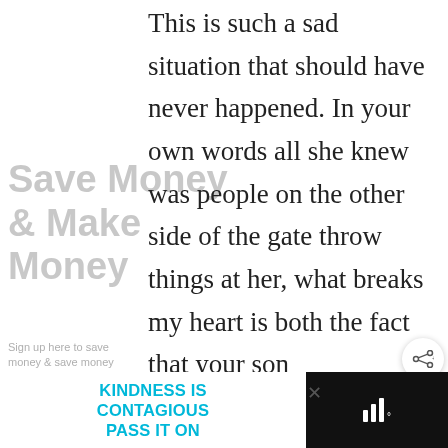This is such a sad situation that should have never happened. In your own words all she knew was people on the other side of the gate throw things at her, what breaks my heart is both the fact that your son
[Figure (screenshot): Watermark/background ad: 'Save Money & Make Money' with sign up text and email address field, partially visible behind main article text]
[Figure (screenshot): Share button (circular with share icon) and 'WHAT'S NEXT' widget showing thumbnail for 'Etching Glass: What NOT T...']
[Figure (screenshot): Bottom ad bar: black background with white panel showing 'KINDNESS IS CONTAGIOUS PASS IT ON' in cyan text, close X button, and speaker/audio icon on right]